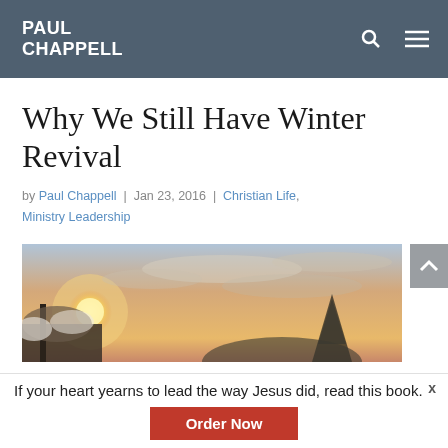PAUL CHAPPELL
Why We Still Have Winter Revival
by Paul Chappell | Jan 23, 2016 | Christian Life, Ministry Leadership
[Figure (photo): A winter sunset landscape with snow-covered trees and silhouettes of trees against an orange-pink sky]
If your heart yearns to lead the way Jesus did, read this book.
Order Now